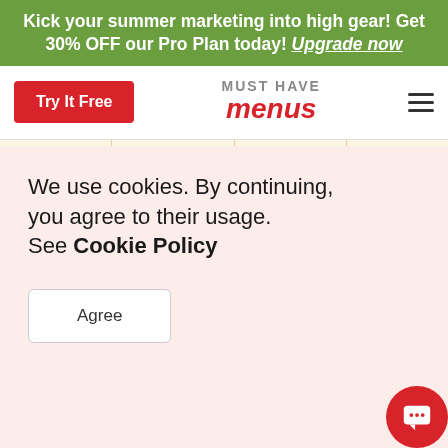Kick your summer marketing into high gear! Get 30% OFF our Pro Plan today! Upgrade now
[Figure (screenshot): Must Have Menus website navigation bar with Try It Free button, logo, and hamburger menu]
[Figure (screenshot): Restaurant menu template preview showing menu items, food photography, and salads section]
We use cookies. By continuing, you agree to their usage. See Cookie Policy
Agree